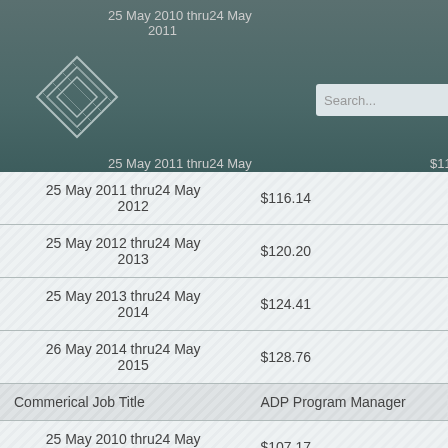25 May 2010 thru24 May 2011  $112.21
| Period | Rate |
| --- | --- |
| 25 May 2011 thru24 May 2012 | $116.14 |
| 25 May 2012 thru24 May 2013 | $120.20 |
| 25 May 2013 thru24 May 2014 | $124.41 |
| 26 May 2014 thru24 May 2015 | $128.76 |
| Commerical Job Title | ADP Program Manager |
| 25 May 2010 thru24 May 2011 | $107.17 |
| 25 May 2011 thru24 May | $110.92 |